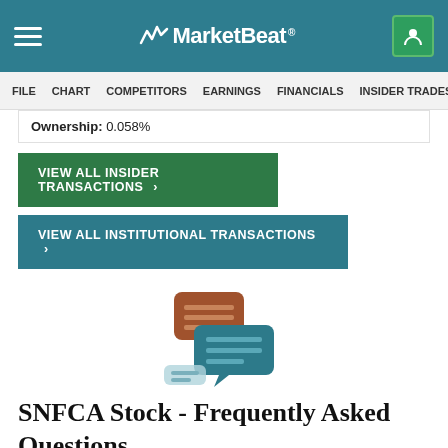MarketBeat
FILE  CHART  COMPETITORS  EARNINGS  FINANCIALS  INSIDER TRADES  >INS
Ownership: 0.058%
VIEW ALL INSIDER TRANSACTIONS >
VIEW ALL INSTITUTIONAL TRANSACTIONS >
[Figure (illustration): Two speech bubble icons, one brown/orange overlapping one teal/dark blue, suggesting FAQ or Q&A conversation]
SNFCA Stock - Frequently Asked Questions